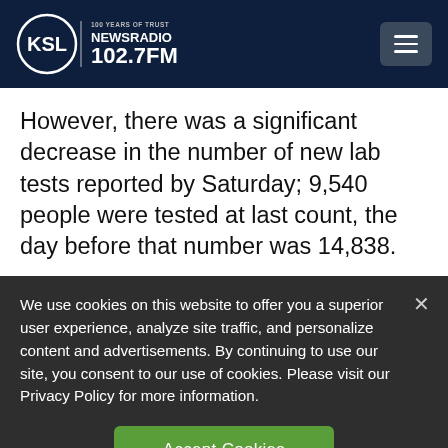[Figure (logo): KSL NewsRadio 102.7FM logo — circular logo on dark navy header with hamburger menu button on the right]
However, there was a significant decrease in the number of new lab tests reported by Saturday; 9,540 people were tested at last count, the day before that number was 14,838.
We use cookies on this website to offer you a superior user experience, analyze site traffic, and personalize content and advertisements. By continuing to use our site, you consent to our use of cookies. Please visit our Privacy Policy for more information.
Accept Cookies